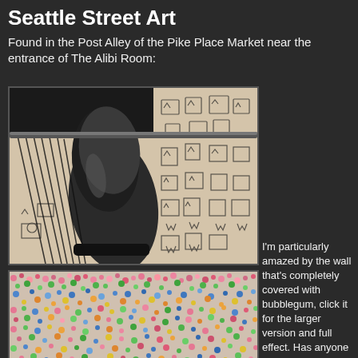Seattle Street Art
Found in the Post Alley of the Pike Place Market near the entrance of The Alibi Room:
[Figure (photo): A black leather boot/shoe hanging above a wall covered in black marker graffiti drawings including crowns, faces, and symbols on a light background]
[Figure (photo): A wall completely covered with colorful bubblegum pieces of various colors including pink, green, blue, red and other colors]
I'm particularly amazed by the wall that's completely covered with bubblegum, click it for the larger version and full effect. Has anyone notice it before? It has to be decades in the making and I've walked through that alley dozens